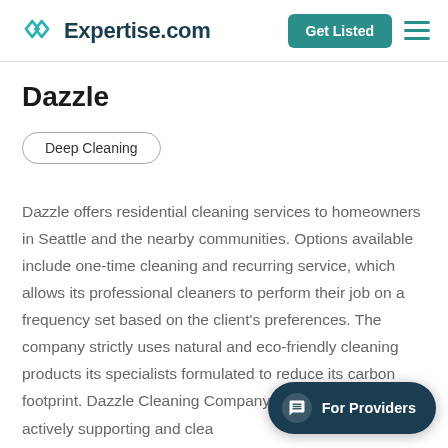Expertise.com
Dazzle
Deep Cleaning
Dazzle offers residential cleaning services to homeowners in Seattle and the nearby communities. Options available include one-time cleaning and recurring service, which allows its professional cleaners to perform their job on a frequency set based on the client's preferences. The company strictly uses natural and eco-friendly cleaning products its specialists formulated to reduce its carbon footprint. Dazzle Cleaning Company also positively business, actively supporting and cleaning